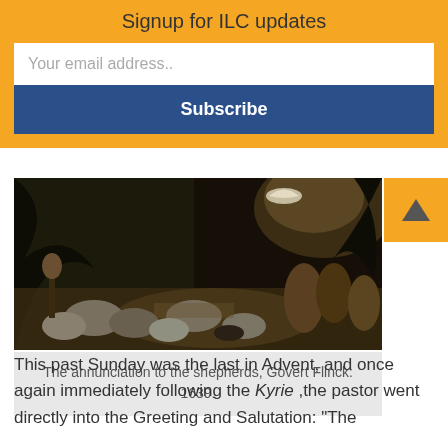Signup for ILC updates
Your email address..
Subscribe
[Figure (photo): A dark painting depicting shepherds and animals in a night scene — The annunciation to the shepherds, Govert Flinck: 1639.]
The annunciation to the shepherds, Govert Flinck: 1639.
by Timothy Quill
This past Sunday was the last in Advent, and once again immediately following the Kyrie ,the pastor went directly into the Greeting and Salutation: "The